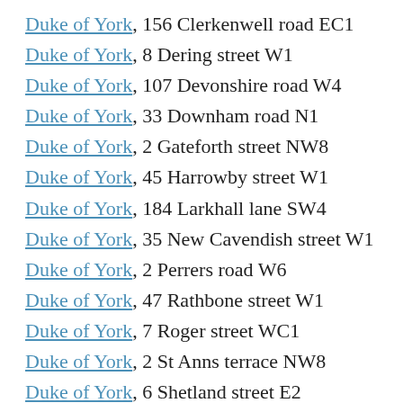Duke of York, 156 Clerkenwell road EC1
Duke of York, 8 Dering street W1
Duke of York, 107 Devonshire road W4
Duke of York, 33 Downham road N1
Duke of York, 2 Gateforth street NW8
Duke of York, 45 Harrowby street W1
Duke of York, 184 Larkhall lane SW4
Duke of York, 35 New Cavendish street W1
Duke of York, 2 Perrers road W6
Duke of York, 47 Rathbone street W1
Duke of York, 7 Roger street WC1
Duke of York, 2 St Anns terrace NW8
Duke of York, 6 Shetland street E2
Duke of York, 86 Stourne road W7